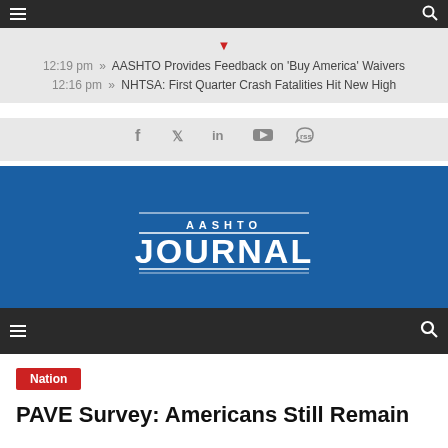AASHTO Journal website header navigation bar
12:19 pm » AASHTO Provides Feedback on 'Buy America' Waivers
12:16 pm » NHTSA: First Quarter Crash Fatalities Hit New High
[Figure (logo): Social media icons: Facebook, Twitter, LinkedIn, YouTube, RSS]
[Figure (logo): AASHTO Journal logo in white text on blue background]
Second navigation bar with hamburger menu and search icon
Nation
PAVE Survey: Americans Still Remain